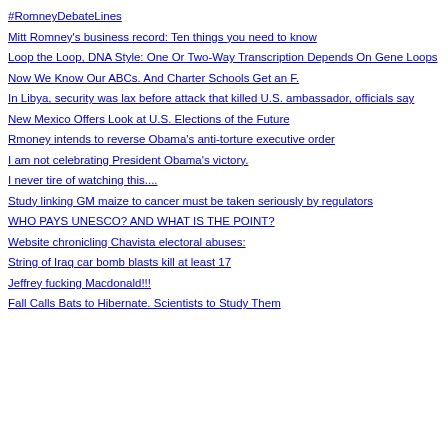#RomneyDebateLines
Mitt Romney's business record: Ten things you need to know
Loop the Loop, DNA Style: One Or Two-Way Transcription Depends On Gene Loops
Now We Know Our ABCs. And Charter Schools Get an F.
In Libya, security was lax before attack that killed U.S. ambassador, officials say
New Mexico Offers Look at U.S. Elections of the Future
Rmoney intends to reverse Obama's anti-torture executive order
I am not celebrating President Obama's victory.
I never tire of watching this....
Study linking GM maize to cancer must be taken seriously by regulators
WHO PAYS UNESCO? AND WHAT IS THE POINT?
Website chronicling Chavista electoral abuses:
String of Iraq car bomb blasts kill at least 17
Jeffrey fucking Macdonald!!!
Fall Calls Bats to Hibernate. Scientists to Study Them